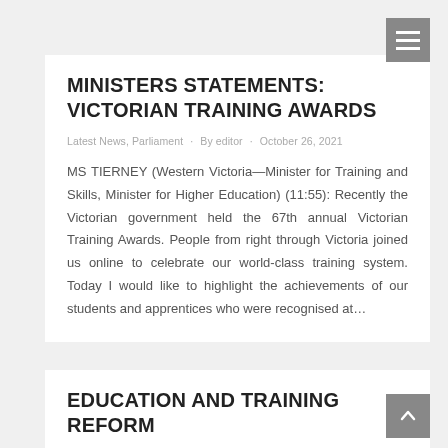MINISTERS STATEMENTS: VICTORIAN TRAINING AWARDS
Latest News, Parliament · By editor · October 26, 2021
MS TIERNEY (Western Victoria—Minister for Training and Skills, Minister for Higher Education) (11:55): Recently the Victorian government held the 67th annual Victorian Training Awards. People from right through Victoria joined us online to celebrate our world-class training system. Today I would like to highlight the achievements of our students and apprentices who were recognised at...
EDUCATION AND TRAINING REFORM